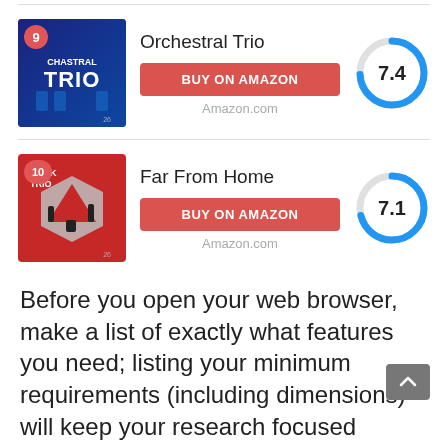[Figure (illustration): Album #9 Orchestral Trio with rank badge, title, BUY ON AMAZON button, Amazon.com label, and score donut showing 7.4]
[Figure (illustration): Album #10 Far From Home with rank badge, title, BUY ON AMAZON button, Amazon.com label, and score donut showing 7.1]
Before you open your web browser, make a list of exactly what features you need; listing your minimum requirements (including dimensions) will keep your research focused